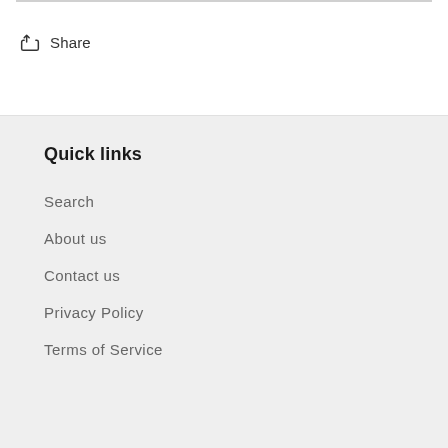Share
Quick links
Search
About us
Contact us
Privacy Policy
Terms of Service